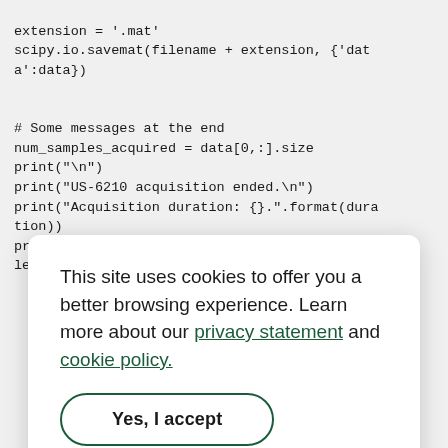extension = '.mat'
scipy.io.savemat(filename + extension, {'data':data})

# Some messages at the end
num_samples_acquired = data[0,:].size
print("\n")
print("US-6210 acquisition ended.\n")
print("Acquisition duration: {}." .format(duration))
print("Acquired samples: {}." .format(num_samples_acquired - 1))
This site uses cookies to offer you a better browsing experience. Learn more about our privacy statement and cookie policy.
Yes, I accept